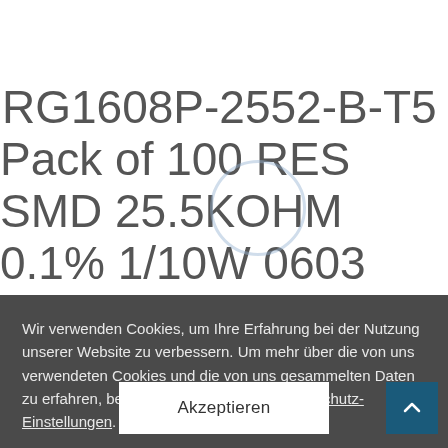RG1608P-2552-B-T5 Pack of 100 RES SMD 25.5KOHM 0.1% 1/10W 0603
Wir verwenden Cookies, um Ihre Erfahrung bei der Nutzung unserer Website zu verbessern. Um mehr über die von uns verwendeten Cookies und die von uns gesammelten Daten zu erfahren, besuchen Sie bitte unser Datenschutz-Einstellungen.